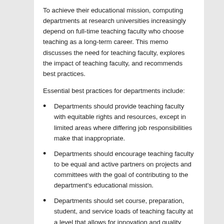To achieve their educational mission, computing departments at research universities increasingly depend on full-time teaching faculty who choose teaching as a long-term career. This memo discusses the need for teaching faculty, explores the impact of teaching faculty, and recommends best practices.
Essential best practices for departments include:
Departments should provide teaching faculty with equitable rights and resources, except in limited areas where differing job responsibilities make that inappropriate.
Departments should encourage teaching faculty to be equal and active partners on projects and committees with the goal of contributing to the department's educational mission.
Departments should set course, preparation, student, and service loads of teaching faculty at a level that allows for innovation and quality instruction.
Departments should advocate for titles for teaching